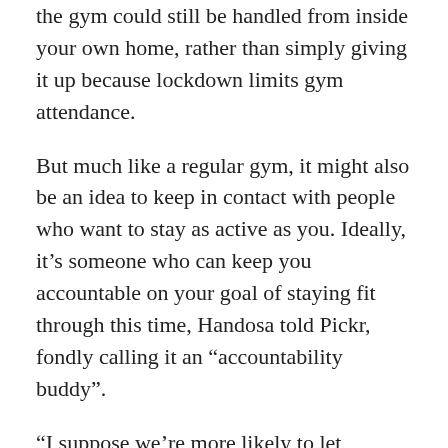the gym could still be handled from inside your own home, rather than simply giving it up because lockdown limits gym attendance.
But much like a regular gym, it might also be an idea to keep in contact with people who want to stay as active as you. Ideally, it’s someone who can keep you accountable on your goal of staying fit through this time, Handosa told Pickr, fondly calling it an “accountability buddy”.
“I suppose we’re more likely to let ourselves down,” Handosa said. “So if we’ve got someone else that also wants to get through lockdown in the best possible way, find a buddy to help keep you accountable. And also set a goal for each week, whether it’s four workouts or 70,000 steps; set a goal that you and your accountability buddy are going to try and stick to.”